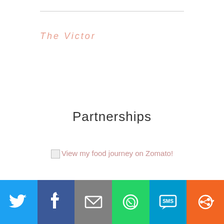The Victor
Partnerships
View my food journey on Zomato!
[Figure (logo): Food Bloggers of Canada (FBC) member badge with maple leaf logo and text 'FBC MEMBER foodbloggersofcanada.com']
Social share bar: Twitter, Facebook, Email, WhatsApp, SMS, Share